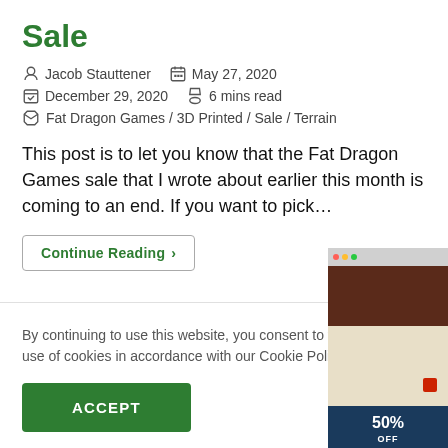Sale
Jacob Stauttener   May 27, 2020   December 29, 2020   6 mins read   Fat Dragon Games / 3D Printed / Sale / Terrain
This post is to let you know that the Fat Dragon Games sale that I wrote about earlier this month is coming to an end. If you want to pick…
Continue Reading ›
By continuing to use this website, you consent to the use of cookies in accordance with our Cookie Policy.
ACCEPT